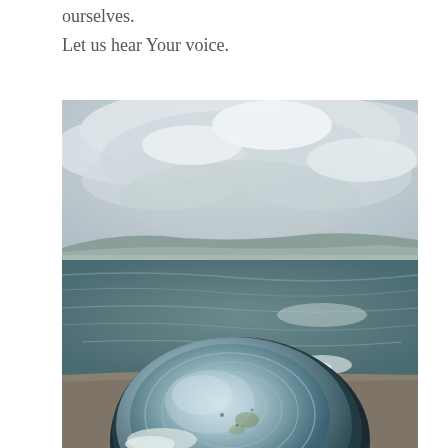ourselves.
Let us hear Your voice.
[Figure (photo): A close-up photograph of a clam shell resting on a sandy beach with a calm bay or estuary in the background under an overcast, cloudy sky. Mountains are visible on the distant horizon.]